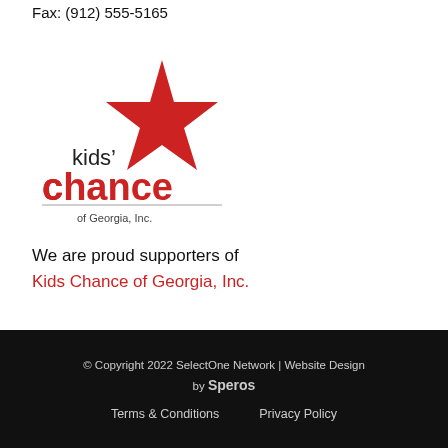Fax: (912) 555-5165
[Figure (logo): Kids' Chance of Georgia, Inc. logo with red star and red text reading 'chance' and dark text 'kids'' and 'of Georgia, Inc.']
We are proud supporters of Kids Chance of Georgia, Inc.
© Copyright 2022 SelectOne Network | Website Design by Speros  Terms & Conditions   Privacy Policy